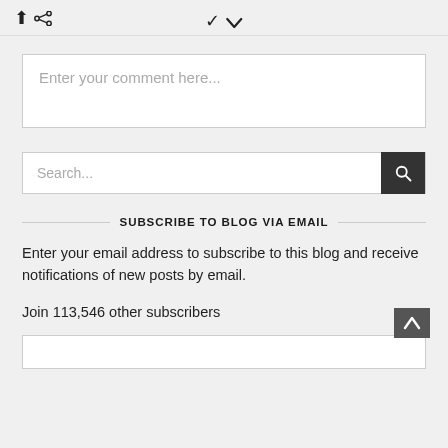share | chevron-down
Enter your comment here...
Search...
SUBSCRIBE TO BLOG VIA EMAIL
Enter your email address to subscribe to this blog and receive notifications of new posts by email.
Join 113,546 other subscribers